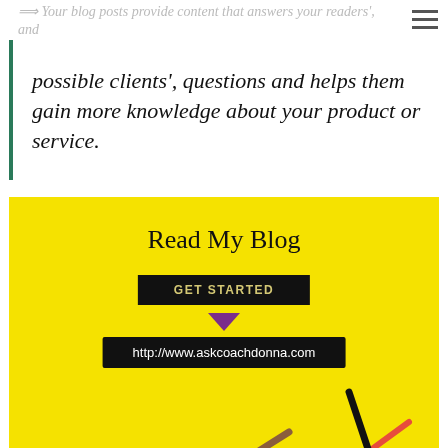⟹ Your blog posts provide content that answers your readers', and possible clients', questions and helps them gain more knowledge about your product or service.
[Figure (infographic): Yellow background card with 'Read My Blog' title, black 'GET STARTED' button, purple downward arrow, and URL bar showing http://www.askcoachdonna.com, with colorful pencils scattered at the bottom]